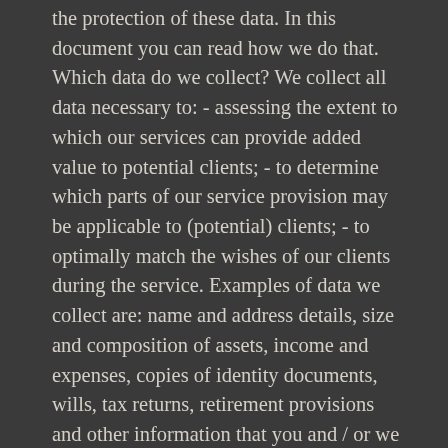the protection of these data. In this document you can read how we do that. Which data do we collect? We collect all data necessary to: - assessing the extent to which our services can provide added value to potential clients; - to determine which parts of our service provision may be applicable to (potential) clients; - to optimally match the wishes of our clients during the service. Examples of data we collect are: name and address details, size and composition of assets, income and expenses, copies of identity documents, wills, tax returns, retirement provisions and other information that you and / or we consider important to include in our services. How do we collect data? Most of the information we collect is provided by us or is requested by us, with your permission, from your bank, notary, accountant, etcetera. In addition, we use public sources such as the trade register of the Chamber of Commerce and the Land Registry. To whom do we provide your data? We treat all personal information we have about you as confidential. This means that we only provide the information to others when this is necessary for our services, when we are obliged by law and